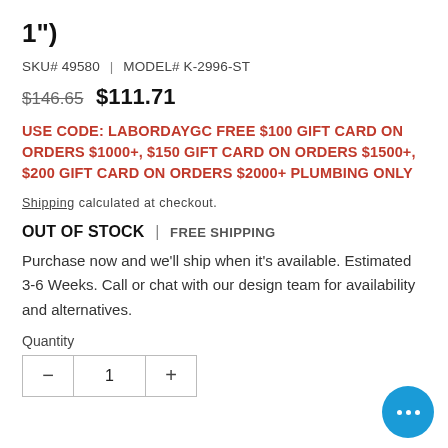1")
SKU# 49580 | MODEL# K-2996-ST
$146.65  $111.71
USE CODE: LABORDAYGC FREE $100 GIFT CARD ON ORDERS $1000+, $150 GIFT CARD ON ORDERS $1500+, $200 GIFT CARD ON ORDERS $2000+ PLUMBING ONLY
Shipping calculated at checkout.
OUT OF STOCK | FREE SHIPPING
Purchase now and we'll ship when it's available. Estimated 3-6 Weeks. Call or chat with our design team for availability and alternatives.
Quantity
- 1 +